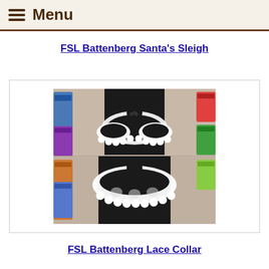Menu
FSL Battenberg Santa's Sleigh
[Figure (photo): Two views of a white lace collar displayed on a black dress form mannequin, showing the collar from front angle (top) and from below/front (bottom). The lace has an intricate scalloped floral pattern. Background shows colorful thread spools.]
FSL Battenberg Lace Collar